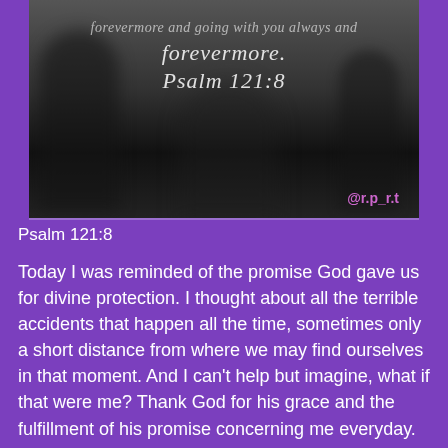[Figure (photo): Black and white blurred photo of people with cursive white text overlay reading 'forevermore. Psalm 121:8' and a pink @r.p_r.t handle in the bottom right corner]
Psalm 121:8
Today I was reminded of the promise God gave us for divine protection. I thought about all the terrible accidents that happen all the time, sometimes only a short distance from where we may find ourselves in that moment. And I can't help but imagine, what if that were me? Thank God for his grace and the fulfillment of his promise concerning me everyday. The fact that you are able to leave your house, go about your day, and return